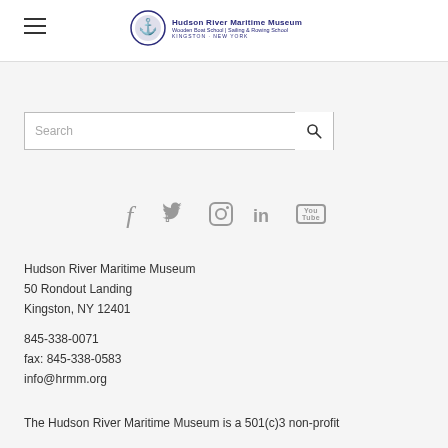[Figure (logo): Hudson River Maritime Museum logo with circular emblem and text: Hudson River Maritime Museum, Wooden Boat School | Sailing & Rowing School, Kingston, New York]
[Figure (screenshot): Search input box with placeholder text 'Search' and a magnifying glass icon button on the right]
[Figure (infographic): Row of social media icons: Facebook (f), Twitter (bird), Instagram (camera), LinkedIn (in), YouTube (You Tube box)]
Hudson River Maritime Museum
50 Rondout Landing
Kingston, NY 12401
845-338-0071
fax: 845-338-0583
info@hrmm.org
The Hudson River Maritime Museum is a 501(c)3 non-profit